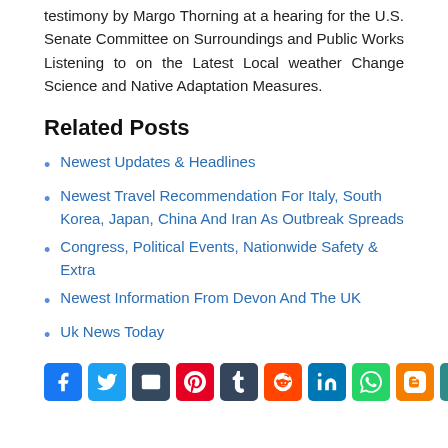testimony by Margo Thorning at a hearing for the U.S. Senate Committee on Surroundings and Public Works Listening to on the Latest Local weather Change Science and Native Adaptation Measures.
Related Posts
Newest Updates & Headlines
Newest Travel Recommendation For Italy, South Korea, Japan, China And Iran As Outbreak Spreads
Congress, Political Events, Nationwide Safety & Extra
Newest Information From Devon And The UK
Uk News Today
[Figure (infographic): Row of social media share buttons: Facebook (blue), Twitter (blue), Email (dark teal), Pinterest (red), Tumblr (dark blue), Reddit (orange), LinkedIn (blue), WhatsApp (green), Blogger (orange), and another icon (dark teal)]